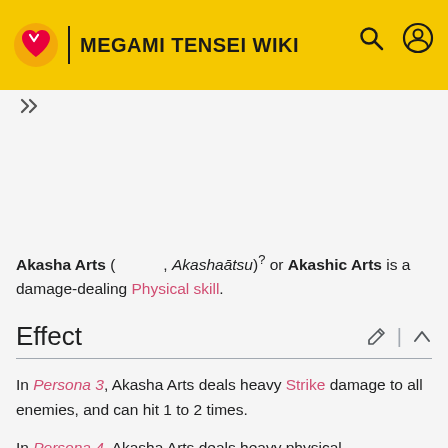MEGAMI TENSEI WIKI
Akasha Arts (アカシャアーツ, Akashaātsu)? or Akashic Arts is a damage-dealing Physical skill.
Effect
In Persona 3, Akasha Arts deals heavy Strike damage to all enemies, and can hit 1 to 2 times.
In Persona 4, Akasha Arts deals heavy physical